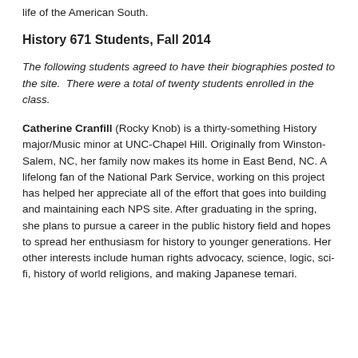life of the American South.
History 671 Students, Fall 2014
The following students agreed to have their biographies posted to the site.  There were a total of twenty students enrolled in the class.
Catherine Cranfill (Rocky Knob) is a thirty-something History major/Music minor at UNC-Chapel Hill. Originally from Winston-Salem, NC, her family now makes its home in East Bend, NC. A lifelong fan of the National Park Service, working on this project has helped her appreciate all of the effort that goes into building and maintaining each NPS site. After graduating in the spring, she plans to pursue a career in the public history field and hopes to spread her enthusiasm for history to younger generations. Her other interests include human rights advocacy, science, logic, sci-fi, history of world religions, and making Japanese temari.